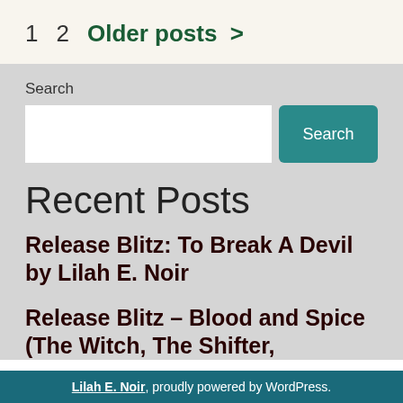1   2   Older posts >
Search
Recent Posts
Release Blitz: To Break A Devil by Lilah E. Noir
Release Blitz – Blood and Spice (The Witch, The Shifter,
Lilah E. Noir, proudly powered by WordPress.